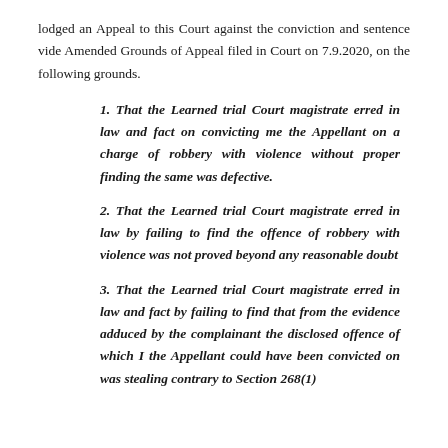lodged an Appeal to this Court against the conviction and sentence vide Amended Grounds of Appeal filed in Court on 7.9.2020, on the following grounds.
1. That the Learned trial Court magistrate erred in law and fact on convicting me the Appellant on a charge of robbery with violence without proper finding the same was defective.
2. That the Learned trial Court magistrate erred in law by failing to find the offence of robbery with violence was not proved beyond any reasonable doubt
3. That the Learned trial Court magistrate erred in law and fact by failing to find that from the evidence adduced by the complainant the disclosed offence of which I the Appellant could have been convicted on was stealing contrary to Section 268(1)